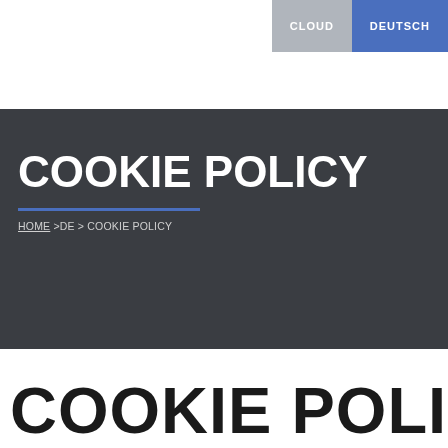CLOUD  DEUTSCH
COOKIE POLICY
HOME >DE > COOKIE POLICY
COOKIE POLICY